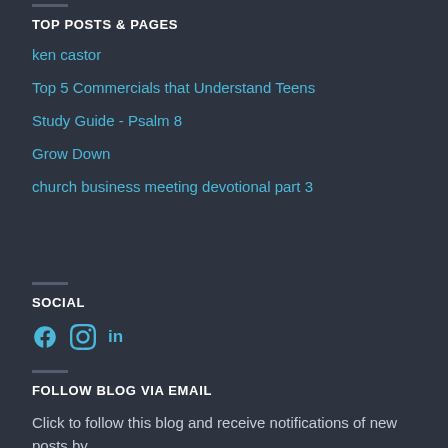TOP POSTS & PAGES
ken castor
Top 5 Commercials that Understand Teens
Study Guide - Psalm 8
Grow Down
church business meeting devotional part 3
SOCIAL
[Figure (infographic): Social media icons: Facebook, Instagram, LinkedIn]
FOLLOW BLOG VIA EMAIL
Click to follow this blog and receive notifications of new posts by email.